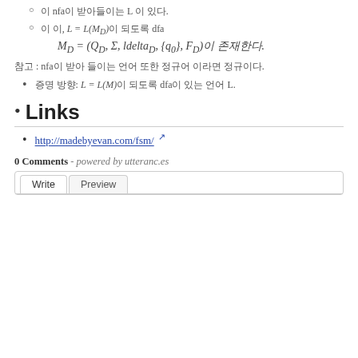이 nfa이 받아들이는 L 이 있다.
이 이, L = L(M_D)이 되도록 dfa M_D = (Q_D, Σ, ldelta_D, {q_0}, F_D)이 존재한다.
참고 : nfa이 받아 들이는 언어 또한 정규어 이라면 정규이다.
증명 방향: L = L(M)이 되도록 dfa이 있는 언어 L.
Links
http://madebyevan.com/fsm/
0 Comments - powered by utteranc.es
Write | Preview